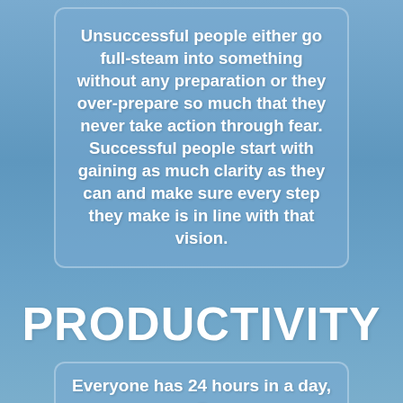Unsuccessful people either go full-steam into something without any preparation or they over-prepare so much that they never take action through fear. Successful people start with gaining as much clarity as they can and make sure every step they make is in line with that vision.
PRODUCTIVITY
Everyone has 24 hours in a day, 7